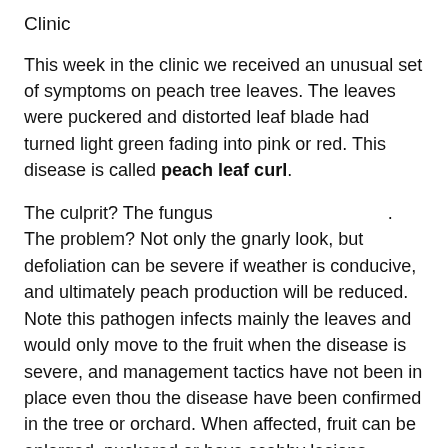Clinic
This week in the clinic we received an unusual set of symptoms on peach tree leaves. The leaves were puckered and distorted leaf blade had turned light green fading into pink or red. This disease is called peach leaf curl.
The culprit? The fungus                               . The problem? Not only the gnarly look, but defoliation can be severe if weather is conducive, and ultimately peach production will be reduced. Note this pathogen infects mainly the leaves and would only move to the fruit when the disease is severe, and management tactics have not been in place even thou the disease have been confirmed in the tree or orchard. When affected, fruit can be enlarged, puckered or have scabby lesions.
The good news is that this pathogen is we plant doctors called monocyclic, meaning these fungal spores infect once in a season then the infection...